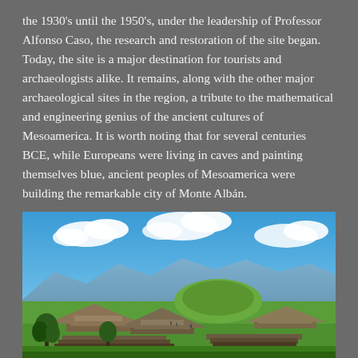the 1930's until the 1950's, under the leadership of Professor Alfonso Caso, the research and restoration of the site began. Today, the site is a major destination for tourists and archaeologists alike. It remains, along with the other major archaeological sites in the region, a tribute to the mathematical and engineering genius of the ancient cultures of Mesoamerica. It is worth noting that for several centuries BCE, while Europeans were living in caves and painting themselves blue, ancient peoples of Mesoamerica were building the remarkable city of Monte Albán.
[Figure (photo): Panoramic photograph of Monte Albán archaeological site in Oaxaca, Mexico, showing the main plaza with ancient pyramid structures and platforms, green lawns, mountains in the background, and a partly cloudy blue sky.]